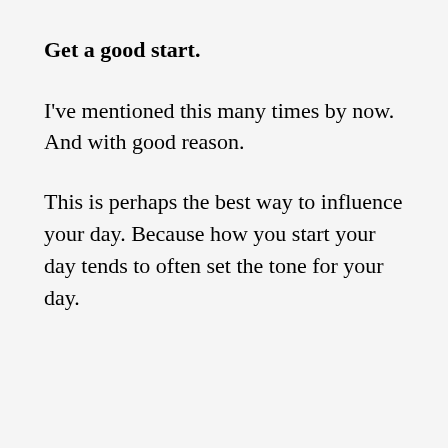Get a good start.
I've mentioned this many times by now. And with good reason.
This is perhaps the best way to influence your day. Because how you start your day tends to often set the tone for your day.